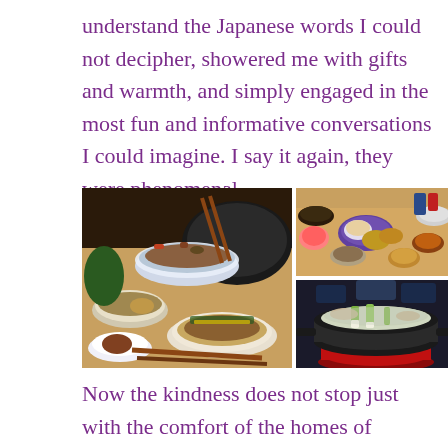understand the Japanese words I could not decipher, showered me with gifts and warmth, and simply engaged in the most fun and informative conversations I could imagine. I say it again, they were phenomenal.
[Figure (photo): Collage of three Japanese food photos: left large photo showing bowls of Japanese dishes with chopsticks, rice bowl, small dishes, and an okonomiyaki on plates; top right showing a table spread with multiple dishes, tempura, sauces and small plates; bottom right showing a hot pot with vegetables and meat in broth on a red base.]
Now the kindness does not stop just with the comfort of the homes of people you know. Even when stepping